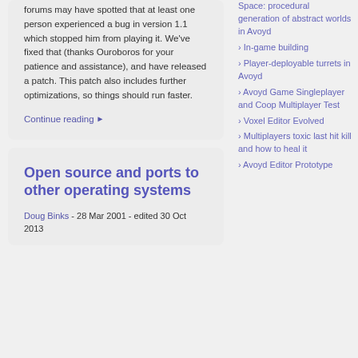forums may have spotted that at least one person experienced a bug in version 1.1 which stopped him from playing it. We've fixed that (thanks Ouroboros for your patience and assistance), and have released a patch. This patch also includes further optimizations, so things should run faster.
Continue reading ▶
Open source and ports to other operating systems
Doug Binks - 28 Mar 2001 - edited 30 Oct 2013
Space: procedural generation of abstract worlds in Avoyd
› In-game building
› Player-deployable turrets in Avoyd
› Avoyd Game Singleplayer and Coop Multiplayer Test
› Voxel Editor Evolved
› Multiplayers toxic last hit kill and how to heal it
› Avoyd Editor Prototype